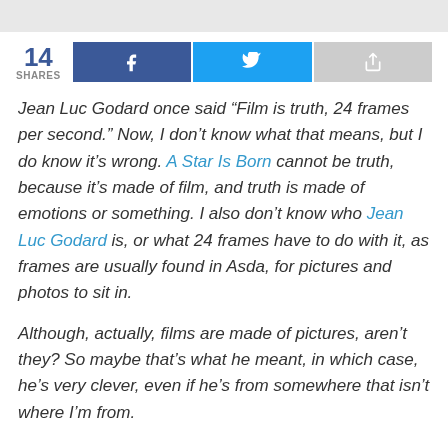[Figure (other): Social share bar with share count of 14, Facebook button, Twitter button, and a generic share button]
Jean Luc Godard once said “Film is truth, 24 frames per second.” Now, I don’t know what that means, but I do know it’s wrong. A Star Is Born cannot be truth, because it’s made of film, and truth is made of emotions or something. I also don’t know who Jean Luc Godard is, or what 24 frames have to do with it, as frames are usually found in Asda, for pictures and photos to sit in.
Although, actually, films are made of pictures, aren’t they? So maybe that’s what he meant, in which case, he’s very clever, even if he’s from somewhere that isn’t where I’m from.